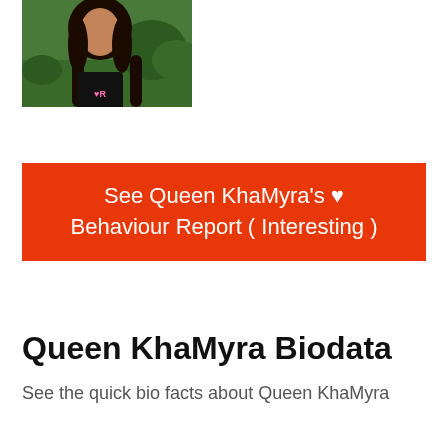[Figure (photo): Photo of Queen KhaMyra, a young woman with long dark hair wearing a black top, outdoors with a green background.]
See Queen KhaMyra's ♥ Behaviour Report ( Interesting )
Queen KhaMyra Biodata
See the quick bio facts about Queen KhaMyra